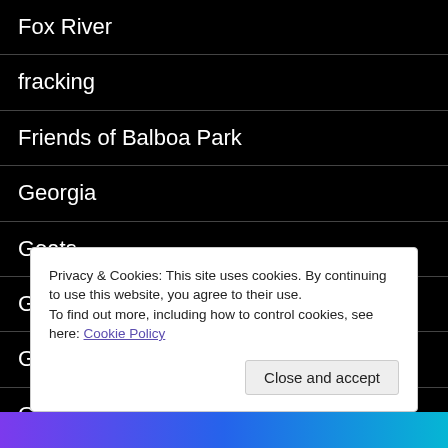Fox River
fracking
Friends of Balboa Park
Georgia
Goats
Grafton Pond
Great Britain
Great Lakes
Great Pacific Garbage Patch
Privacy & Cookies: This site uses cookies. By continuing to use this website, you agree to their use.
To find out more, including how to control cookies, see here: Cookie Policy
Close and accept